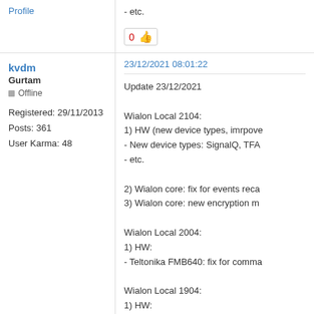- etc.
Profile
0 👍
kvdm
Gurtam
Offline
Registered: 29/11/2013
Posts: 361
User Karma: 48
23/12/2021 08:01:22
Update 23/12/2021

Wialon Local 2104:
1) HW (new device types, imrpove...
- New device types: SignalQ, TFA...
- etc.

2) Wialon core: fix for events reca...
3) Wialon core: new encryption m...

Wialon Local 2004:
1) HW:
- Teltonika FMB640: fix for comma...

Wialon Local 1904:
1) HW:
- Teltonika FMB640: fix for comma...